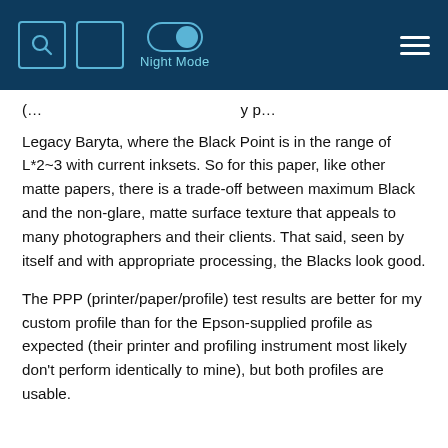Night Mode
Legacy Baryta, where the Black Point is in the range of L*2~3 with current inksets. So for this paper, like other matte papers, there is a trade-off between maximum Black and the non-glare, matte surface texture that appeals to many photographers and their clients. That said, seen by itself and with appropriate processing, the Blacks look good.
The PPP (printer/paper/profile) test results are better for my custom profile than for the Epson-supplied profile as expected (their printer and profiling instrument most likely don't perform identically to mine), but both profiles are usable.